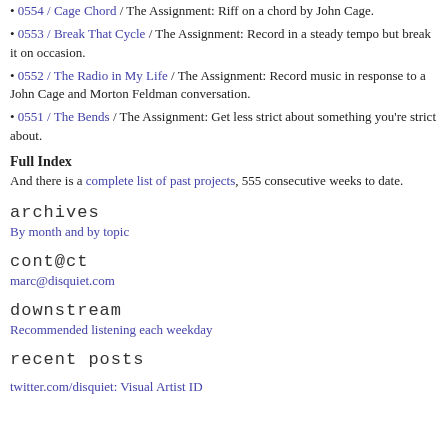0554 / Cage Chord / The Assignment: Riff on a chord by John Cage.
0553 / Break That Cycle / The Assignment: Record in a steady tempo but break it on occasion.
0552 / The Radio in My Life / The Assignment: Record music in response to a John Cage and Morton Feldman conversation.
0551 / The Bends / The Assignment: Get less strict about something you're strict about.
Full Index
And there is a complete list of past projects, 555 consecutive weeks to date.
archives
By month and by topic
cont@ct
marc@disquiet.com
downstream
Recommended listening each weekday
recent posts
twitter.com/disquiet: Visual Artist ID